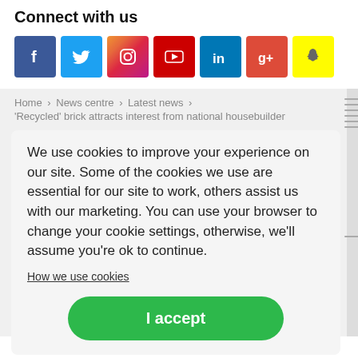Connect with us
[Figure (infographic): Row of 7 social media icon buttons: Facebook (blue), Twitter (blue), Instagram (gradient), YouTube (red), LinkedIn (blue), Google+ (red), Snapchat (yellow)]
Home › News centre › Latest news ›
'Recycled' brick attracts interest from national housebuilder
We use cookies to improve your experience on our site. Some of the cookies we use are essential for our site to work, others assist us with our marketing. You can use your browser to change your cookie settings, otherwise, we'll assume you're ok to continue.
How we use cookies
I accept